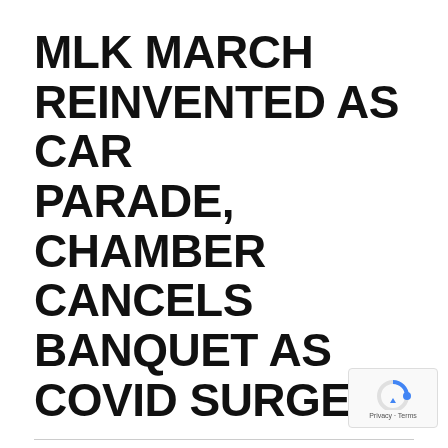MLK MARCH REINVENTED AS CAR PARADE, CHAMBER CANCELS BANQUET AS COVID SURGES
FEATURED   LOCAL NEWS  - BY LPR STAFF - JANUARY 11, 2022 - 0
SHARE:
From staff reports